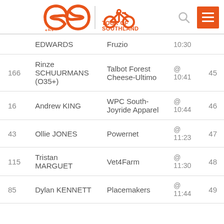[Figure (logo): SBS Tour of Southland logo with orange infinity/loop shape and bicycle icon]
| # | Rider | Team | Time | Pos |
| --- | --- | --- | --- | --- |
|  | EDWARDS | Fruzio | 10:30 |  |
| 166 | Rinze SCHUURMANS (O35+) | Talbot Forest Cheese-Ultimo | @ 10:41 | 45 |
| 16 | Andrew KING | WPC South-Joyride Apparel | @ 10:44 | 46 |
| 43 | Ollie JONES | Powernet | @ 11:23 | 47 |
| 115 | Tristan MARGUET | Vet4Farm | @ 11:30 | 48 |
| 85 | Dylan KENNETT | Placemakers | @ 11:44 | 49 |